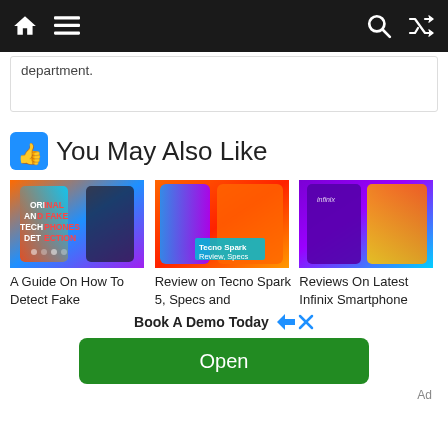Navigation bar with home, menu, search, shuffle icons
department.
👍 You May Also Like
[Figure (screenshot): Thumbnail image: Original and Fake Tech Phones Detection]
A Guide On How To Detect Fake
[Figure (screenshot): Thumbnail image: Tecno Spark Review, Specs]
Review on Tecno Spark 5, Specs and
[Figure (screenshot): Thumbnail image: Infinix Smartphone]
Reviews On Latest Infinix Smartphone
Book A Demo Today
Open
Ad